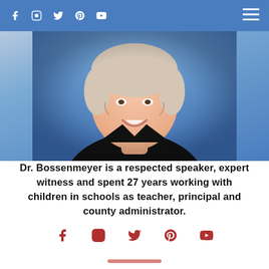Navigation bar with social icons (Facebook, Instagram, Twitter, Pinterest, YouTube) and hamburger menu
[Figure (photo): Headshot photo of Dr. Bossenmeyer, a woman smiling, wearing a dark jacket, against a blue background]
Dr. Bossenmeyer is a respected speaker, expert witness and spent 27 years working with children in schools as teacher, principal and county administrator.
[Figure (infographic): Row of social media icons: Facebook, Instagram, Twitter, Pinterest, YouTube in red/dark red color]